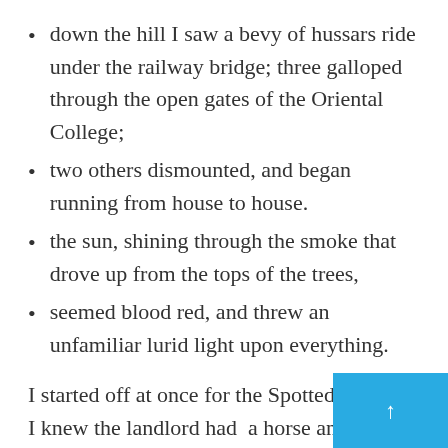down the hill I saw a bevy of hussars ride under the railway bridge; three galloped through the open gates of the Oriental College;
two others dismounted, and began running from house to house.
the sun, shining through the smoke that drove up from the tops of the trees,
seemed blood red, and threw an unfamiliar lurid light upon everything.
I started off at once for the Spotted Dog, for I knew the landlord had a horse and dog cart. I ran, for I perceived that in a moment everyone upon this side of the hill would be moving. I found him in quite unaware of what was going on be